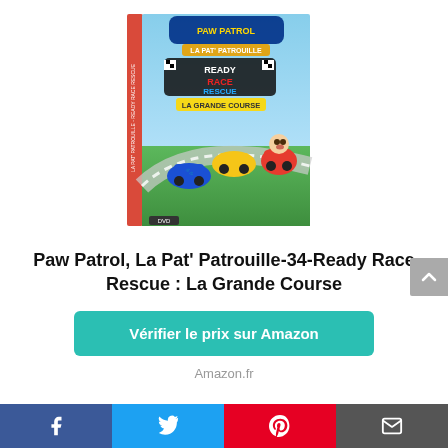[Figure (photo): DVD cover of Paw Patrol La Pat' Patrouille - Ready Race Rescue: La Grande Course, showing animated dog characters in racing cars on a colorful race track]
Paw Patrol, La Pat' Patrouille-34-Ready Race Rescue : La Grande Course
Vérifier le prix sur Amazon
Amazon.fr
Facebook | Twitter | Pinterest | Email